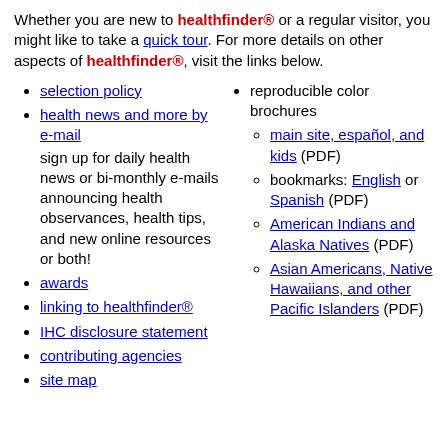Whether you are new to healthfinder® or a regular visitor, you might like to take a quick tour. For more details on other aspects of healthfinder®, visit the links below.
selection policy
health news and more by e-mail — sign up for daily health news or bi-monthly e-mails announcing health observances, health tips, and new online resources or both!
reproducible color brochures
main site, español, and kids (PDF)
bookmarks: English or Spanish (PDF)
American Indians and Alaska Natives (PDF)
Asian Americans, Native Hawaiians, and other Pacific Islanders (PDF)
awards
linking to healthfinder®
IHC disclosure statement
contributing agencies
site map